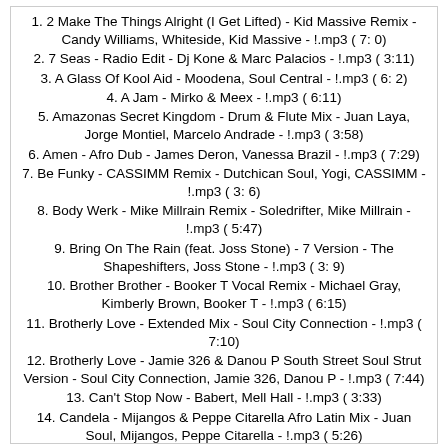1. 2 Make The Things Alright (I Get Lifted) - Kid Massive Remix - Candy Williams, Whiteside, Kid Massive - !.mp3 ( 7: 0)
2. 7 Seas - Radio Edit - Dj Kone & Marc Palacios - !.mp3 ( 3:11)
3. A Glass Of Kool Aid - Moodena, Soul Central - !.mp3 ( 6: 2)
4. A Jam - Mirko & Meex - !.mp3 ( 6:11)
5. Amazonas Secret Kingdom - Drum & Flute Mix - Juan Laya, Jorge Montiel, Marcelo Andrade - !.mp3 ( 3:58)
6. Amen - Afro Dub - James Deron, Vanessa Brazil - !.mp3 ( 7:29)
7. Be Funky - CASSIMM Remix - Dutchican Soul, Yogi, CASSIMM - !.mp3 ( 3: 6)
8. Body Werk - Mike Millrain Remix - Soledrifter, Mike Millrain - !.mp3 ( 5:47)
9. Bring On The Rain (feat. Joss Stone) - 7 Version - The Shapeshifters, Joss Stone - !.mp3 ( 3: 9)
10. Brother Brother - Booker T Vocal Remix - Michael Gray, Kimberly Brown, Booker T - !.mp3 ( 6:15)
11. Brotherly Love - Extended Mix - Soul City Connection - !.mp3 ( 7:10)
12. Brotherly Love - Jamie 326 & Danou P South Street Soul Strut Version - Soul City Connection, Jamie 326, Danou P - !.mp3 ( 7:44)
13. Can't Stop Now - Babert, Mell Hall - !.mp3 ( 3:33)
14. Candela - Mijangos & Peppe Citarella Afro Latin Mix - Juan Soul, Mijangos, Peppe Citarella - !.mp3 ( 5:26)
15. Chimpy - Feat Sweet Love Afro... ( 6:00)